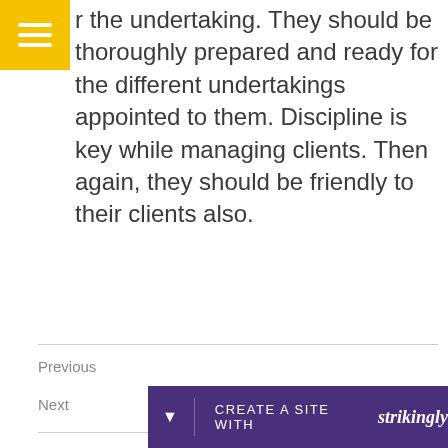r the undertaking. They should be thoroughly prepared and ready for the different undertakings appointed to them. Discipline is key while managing clients. Then again, they should be friendly to their clients also.
Previous
Next
CREATE A SITE WITH strikingly